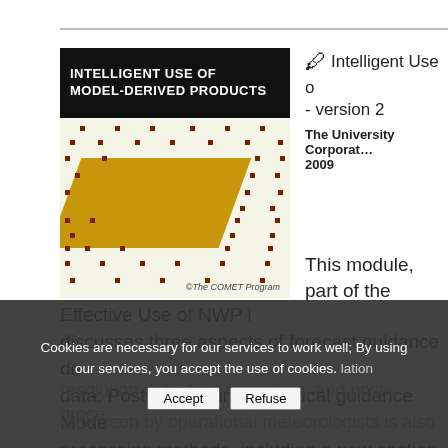[Figure (illustration): Cover image for 'Intelligent Use of Model-Derived Products' module showing a parallelogram shape on a light background with scattered dark red dots and '©The COMET Program' credit]
Intelligent Use of Model-Derived Products - version 2
The University Corporation 2009
This module, part of the Effective Use of NWP in... discusses three aspects of forecast guidance de... data: Post-processing Statistical guidance Mode... processing methods, including a new section of... resolution data, bias correction, and post-proces... ...lation ... data seen by operational meteorologists is also...